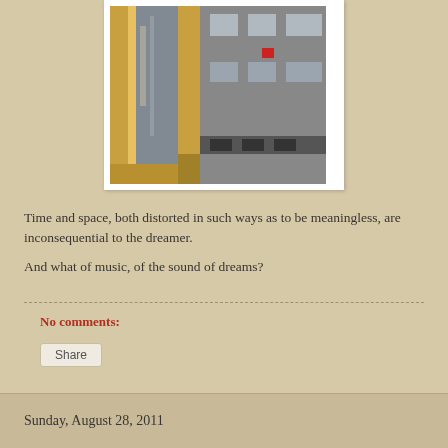[Figure (photo): Photograph showing a view through a window frame with reflections, and a building exterior with windows visible outside, including a small red sign on one window.]
Time and space, both distorted in such ways as to be meaningless, are inconsequential to the dreamer.
And what of music, of the sound of dreams?
No comments:
Share
Sunday, August 28, 2011